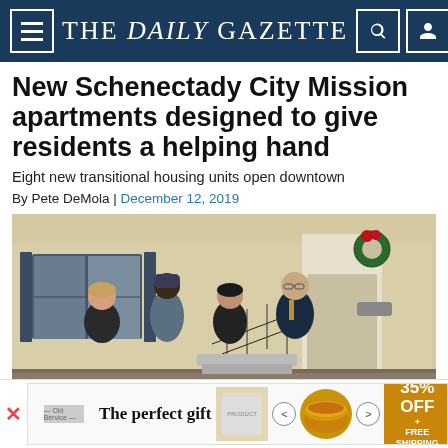THE DAILY GAZETTE
New Schenectady City Mission apartments designed to give residents a helping hand
Eight new transitional housing units open downtown
By Pete DeMola | December 12, 2019
[Figure (photo): Four people standing in front of a residential building with holiday decorations, posing for a photo outdoors in winter.]
[Figure (infographic): Advertisement banner: 'The perfect gift' with product images, navigation arrows, and '35% OFF + FREE SHIPPING' offer in golden box.]